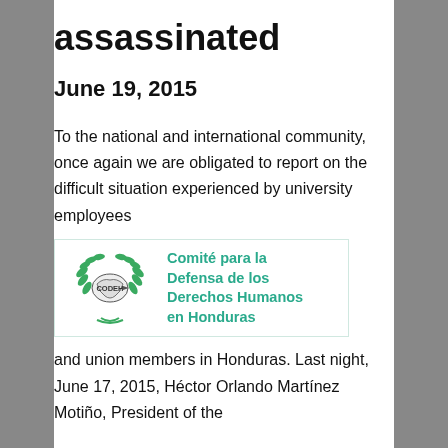assassinated
June 19, 2015
To the national and international community, once again we are obligated to report on the difficult situation experienced by university employees
[Figure (logo): CODEH logo — Comité para la Defensa de los Derechos Humanos en Honduras. Green laurel wreath with Honduras map silhouette in center labeled CODEH, and teal text to the right.]
and union members in Honduras. Last night, June 17, 2015, Héctor Orlando Martínez Motiño, President of the